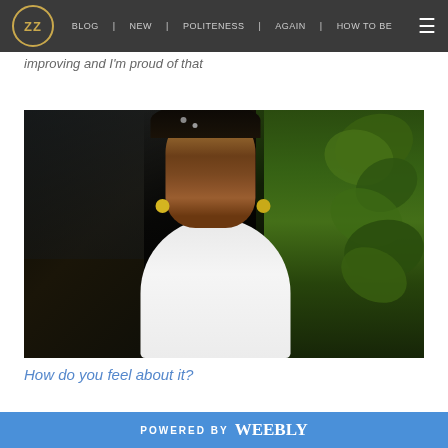ZZ | blog | new | politeness | again | how to be | improving and I'm proud of that
improving and I'm proud of that
[Figure (photo): Portrait photo of a young Black woman wearing yellow earrings and a white top, standing against a dark background with green leaves/vines to the right, with dramatic lighting creating a shadow across her face.]
How do you feel about it?
POWERED BY weebly